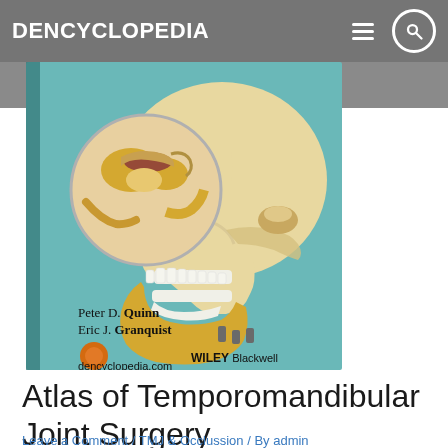DENCYCLOPEDIA
[Figure (photo): Book cover of Atlas of Temporomandibular Joint Surgery by Peter D. Quinn and Eric J. Granquist, published by Wiley Blackwell. Shows an illustrated lateral view of a human skull with a circular inset highlighting the temporomandibular joint anatomy. Text on cover includes authors' names, dencyclopedia.com, and the book title.]
Atlas of Temporomandibular Joint Surgery
Leave a Comment / TMJ & Occlussion / By admin